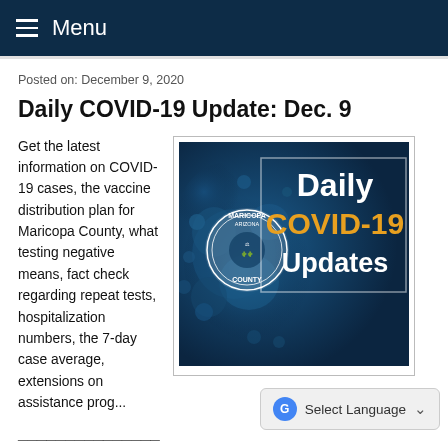Menu
Posted on: December 9, 2020
Daily COVID-19 Update: Dec. 9
Get the latest information on COVID-19 cases, the vaccine distribution plan for Maricopa County, what testing negative means, fact check regarding repeat tests, hospitalization numbers, the 7-day case average, extensions on assistance prog...
[Figure (photo): Maricopa County Arizona seal/badge overlaid on a dark blue COVID-19 virus microscope image. Text reads 'Daily COVID-19 Updates' with COVID-19 in gold/yellow.]
Select Language